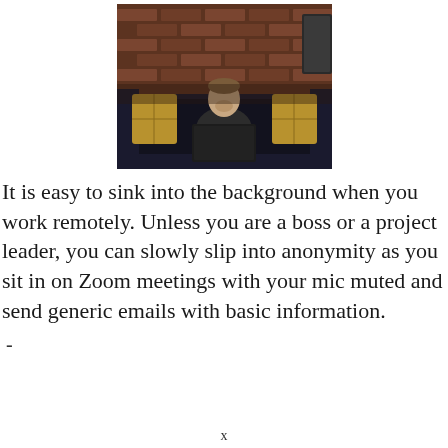[Figure (photo): A man sitting on a dark leather sofa working on a laptop, with decorative pillows on either side and a brick wall background in a dimly lit room.]
It is easy to sink into the background when you work remotely. Unless you are a boss or a project leader, you can slowly slip into anonymity as you sit in on Zoom meetings with your mic muted and send generic emails with basic information.
-
x